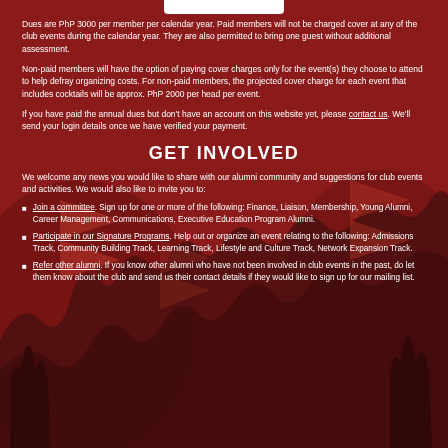Dues are PhP 3000 per member per calendar year. Paid members will not be charged cover at any of the club events during the calendar year. They are also permitted to bring one guest without additional assessment.
Non-paid members will have the option of paying cover charges only for the event(s) they choose to attend to help defray organizing costs. For non-paid members, the projected cover charge for each event that includes cocktails will be approx. PhP 2000 per head per event.
If you have paid the annual dues but don't have an account on this website yet, please contact us. We'll send your login details once we have verified your payment.
GET INVOLVED
We welcome any news you would like to share with our alumni community and suggestions for club events and activities. We would also like to invite you to:
Join a committee. Sign up for one or more of the following: Finance, Liaison, Membership, Young Alumni, Career Management, Communications, Executive Education Program Alumni.
Participate in our Signature Programs. Help out or organize an event relating to the following: Admissions Track, Community Building Track, Learning Track, Lifestyle and Culture Track, Network Expansion Track.
Refer other alumni. If you know other alumni who have not been involved in club events in the past, do let them know about the club and send us their contact details if they would like to sign up for our mailing list.